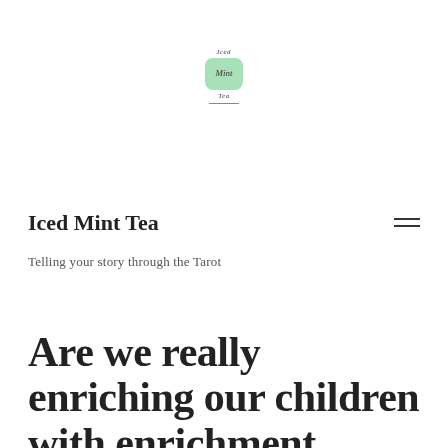[Figure (logo): Iced Mint Tea logo — handwritten text 'Iced' above a green rounded square badge with cursive 'Mint' text inside, and 'Tea' below with a horizontal underline]
Iced Mint Tea
Telling your story through the Tarot
Are we really enriching our children with enrichment classes?